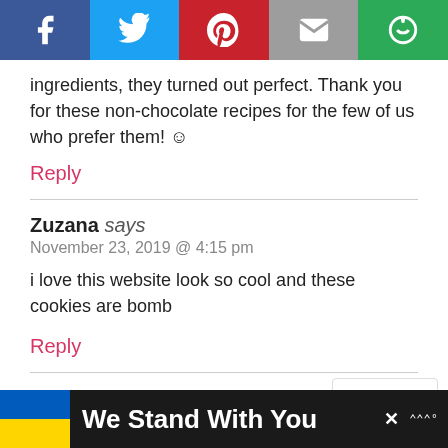[Figure (screenshot): Social media share buttons bar: Facebook (blue), Twitter (light blue), Pinterest (red), Email (gray), Share (green)]
ingredients, they turned out perfect. Thank you for these non-chocolate recipes for the few of us who prefer them! ☺
Reply
Zuzana says
November 23, 2019 @ 4:15 pm
i love this website look so cool and these cookies are bomb
Reply
Meredith says
November 22, 2019 @ 3:00 am
[Figure (infographic): Scroll to top widget with pink hearts and text 'Scroll to top']
[Figure (infographic): Advertisement bar: Ukraine flag, text 'We Stand With You', close button, logo]